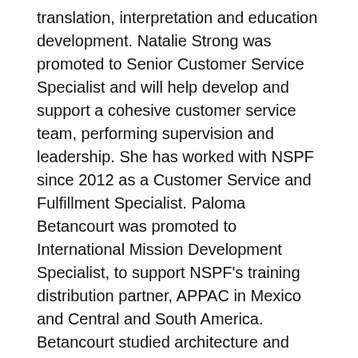translation, interpretation and education development. Natalie Strong was promoted to Senior Customer Service Specialist and will help develop and support a cohesive customer service team, performing supervision and leadership. She has worked with NSPF since 2012 as a Customer Service and Fulfillment Specialist. Paloma Betancourt was promoted to International Mission Development Specialist, to support NSPF's training distribution partner, APPAC in Mexico and Central and South America. Betancourt studied architecture and industrial design in both Universidad Politécnica and Universidad del Turabo.
Kunzel named to HM Digital manager position
HM Digital, Inc. announced that Brent Kunzel has